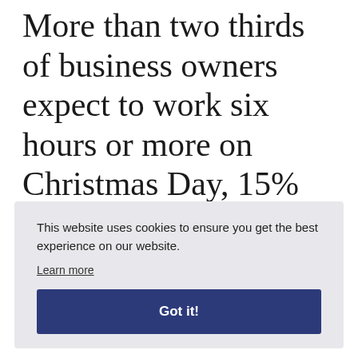More than two thirds of business owners expect to work six hours or more on Christmas Day, 15% intend to treat it as a normal working day, and a further 18% plan
This website uses cookies to ensure you get the best experience on our website. Learn more Got it!